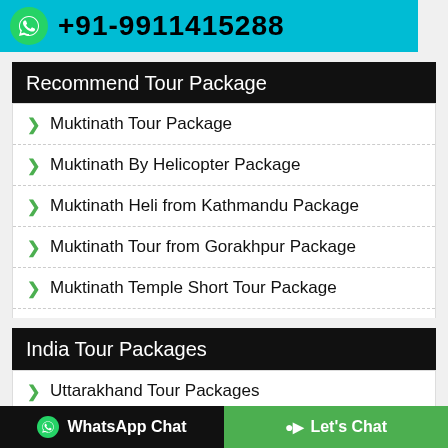+91-9911415288
Recommend Tour Package
Muktinath Tour Package
Muktinath By Helicopter Package
Muktinath Heli from Kathmandu Package
Muktinath Tour from Gorakhpur Package
Muktinath Temple Short Tour Package
View More [+]
India Tour Packages
Uttarakhand Tour Packages
WhatsApp Chat   Let's Chat